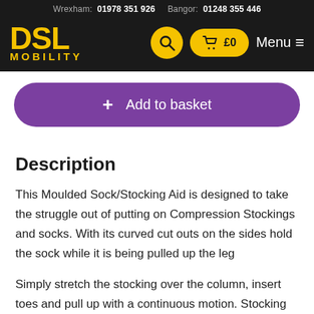Wrexham: 01978 351 926   Bangor: 01248 355 446
[Figure (logo): DSL Mobility logo in gold/yellow on black background]
Add to basket
Description
This Moulded Sock/Stocking Aid is designed to take the struggle out of putting on Compression Stockings and socks. With its curved cut outs on the sides hold the sock while it is being pulled up the leg
Simply stretch the stocking over the column, insert toes and pull up with a continuous motion. Stocking Aids reduce bending and increase